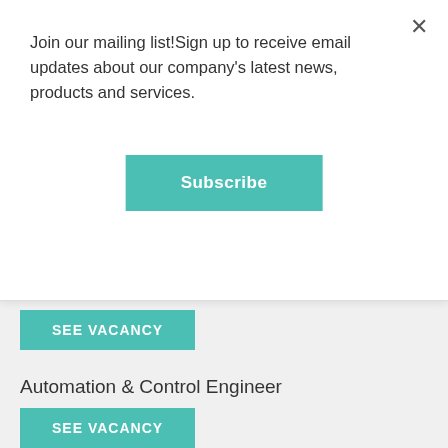Join our mailing list!Sign up to receive email updates about our company's latest news, products and services.
Subscribe
SEE VACANCY
Automation & Control Engineer
SEE VACANCY
Electrical Engineer
SEE VACANCY
Business Developer
SEE VACANCY